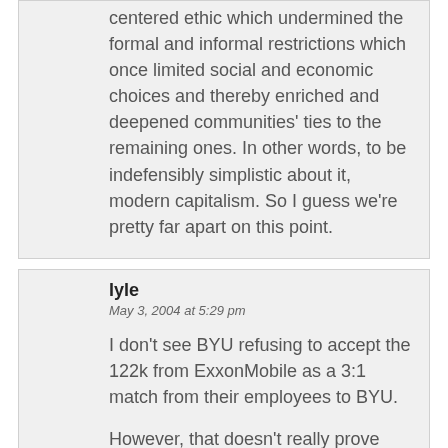centered ethic which undermined the formal and informal restrictions which once limited social and economic choices and thereby enriched and deepened communities' ties to the remaining ones. In other words, to be indefensibly simplistic about it, modern capitalism. So I guess we're pretty far apart on this point.
lyle
May 3, 2004 at 5:29 pm
I don't see BYU refusing to accept the 122k from ExxonMobile as a 3:1 match from their employees to BYU.
However, that doesn't really prove much.